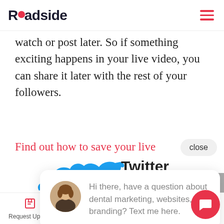Roadside
watch or post later. So if something exciting happens in your live video, you can share it later with the rest of your followers.
Find out how to save your live Instagram stories
close
[Figure (screenshot): Accessibility icon button (person with arms out) on red background on left edge]
[Figure (screenshot): Chat popup with woman avatar and text: Hi there, have a question about dental marketing, websites, or branding? Text me here.]
Twitter :140
Request Update  Call Us  Book a Call  Free Quote